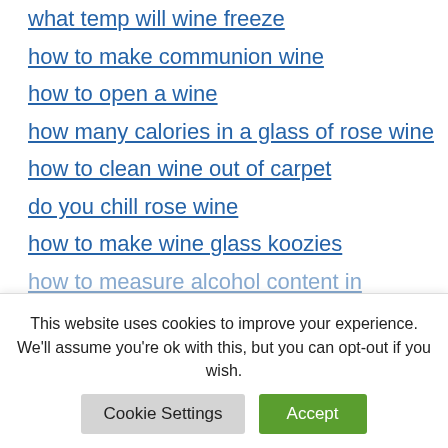what temp will wine freeze
how to make communion wine
how to open a wine
how many calories in a glass of rose wine
how to clean wine out of carpet
do you chill rose wine
how to make wine glass koozies
how to measure alcohol content in wine without a hydrometer
This website uses cookies to improve your experience. We'll assume you're ok with this, but you can opt-out if you wish.